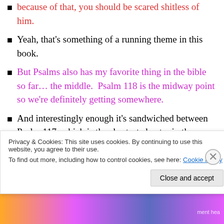because of that, you should be scared shitless of him.
Yeah, that's something of a running theme in this book.
But Psalms also has my favorite thing in the bible so far… the middle.  Psalm 118 is the midway point so we're definitely getting somewhere.
And interestingly enough it's sandwiched between Psalm 117, which is the shortest chapter in the entire bible, and Psalm 119, which is the longest
Privacy & Cookies: This site uses cookies. By continuing to use this website, you agree to their use. To find out more, including how to control cookies, see here: Cookie Policy